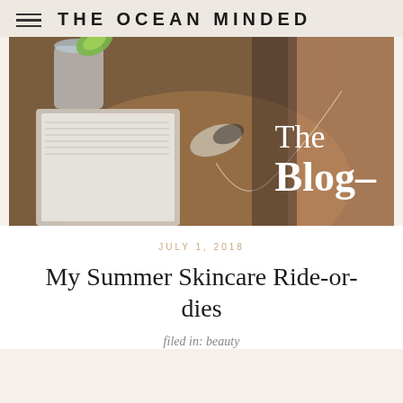THE OCEAN MINDED
[Figure (photo): Flatlay photo showing a book, a hair clip, a wooden table, a drink with lime, and a person's arm in the background. Text overlay reads 'The Blog'.]
JULY 1, 2018
My Summer Skincare Ride-or-dies
filed in: beauty